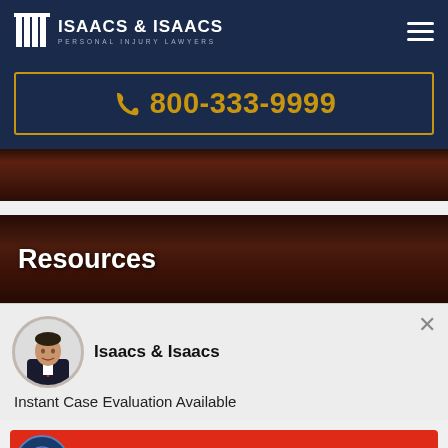ISAACS & ISAACS PERSONAL INJURY LAWYERS
📞 800-333-9999
[Figure (screenshot): Dark wood-textured background strip]
Resources
Isaacs & Isaacs
Instant Case Evaluation Available
FREE CASE EVALUATION